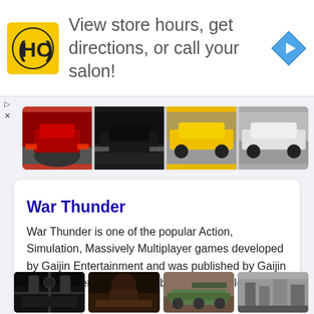[Figure (screenshot): Advertisement banner with HC logo (yellow square with black HC text), text 'View store hours, get directions, or call your salon!' and a blue diamond navigation arrow icon]
[Figure (photo): Strip of four car racing photos showing cars on a race track]
War Thunder
War Thunder is one of the popular Action, Simulation, Massively Multiplayer games developed by Gaijin Entertainment and was published by Gaijin Entertainment, Gaijin Distribution KFT. Released in ...
Read more...   Similar games
[Figure (photo): Four game screenshots from War Thunder showing aircraft cockpit, battlefield scene, tank, and industrial building]